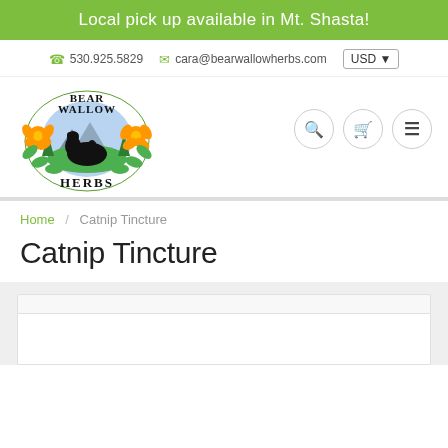Local pick up available in Mt. Shasta!
530.925.5829  cara@bearwallowherbs.com  USD
[Figure (logo): Bear Wallow Herbs logo - circular emblem with a black bear silhouette on green background, orange flowers on sides, mountains behind, surrounded by green leaves, with text BEAR WALLOW HERBS]
Search, Cart, and Menu icon buttons
Home / Catnip Tincture
Catnip Tincture